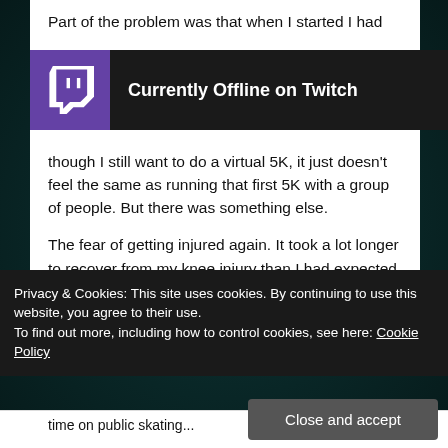Part of the problem was that when I started I had ... ould pass and by this time I'd be able to run a 5K! And though I still want to do a virtual 5K, it just doesn't feel the same as running that first 5K with a group of people. But there was something else.
[Figure (screenshot): Twitch 'Currently Offline on Twitch' overlay banner with purple Twitch logo on dark background]
The fear of getting injured again. It took a lot longer to recover from my knee injury than I had expected. Facts are your body doesn't recover as easy when you get older, but add diabetes into it and recovery is painfully slow.
Privacy & Cookies: This site uses cookies. By continuing to use this website, you agree to their use.
To find out more, including how to control cookies, see here: Cookie Policy
Close and accept
time on public skating...